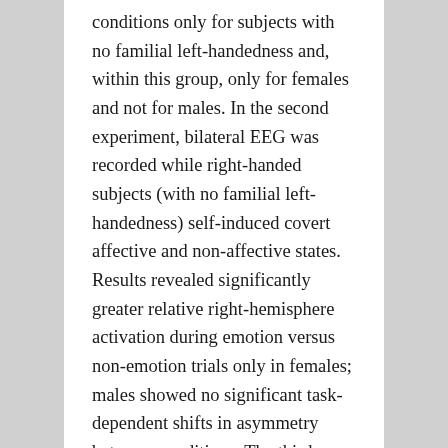conditions only for subjects with no familial left-handedness and, within this group, only for females and not for males. In the second experiment, bilateral EEG was recorded while right-handed subjects (with no familial left-handedness) self-induced covert affective and non-affective states. Results revealed significantly greater relative right-hemisphere activation during emotion versus non-emotion trials only in females; males showed no significant task-dependent shifts in asymmetry between conditions. The third experiment was designed to test the hypothesis that females show